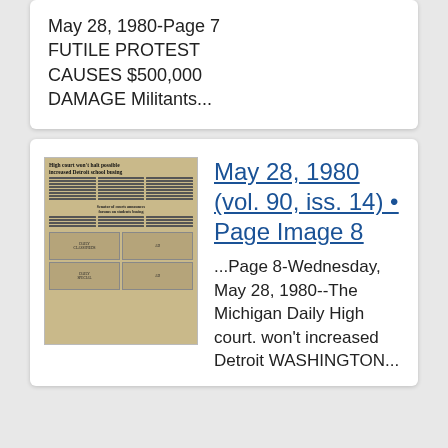May 28, 1980-Page 7 FUTILE PROTEST CAUSES $500,000 DAMAGE Militants...
[Figure (photo): Thumbnail image of a newspaper page (Michigan Daily, May 28, 1980) with headline 'High court won't halt possible increased Detroit school busing' and various columns and advertisements.]
May 28, 1980 (vol. 90, iss. 14) • Page Image 8
...Page 8-Wednesday, May 28, 1980--The Michigan Daily High court. won't increased Detroit WASHINGTON...